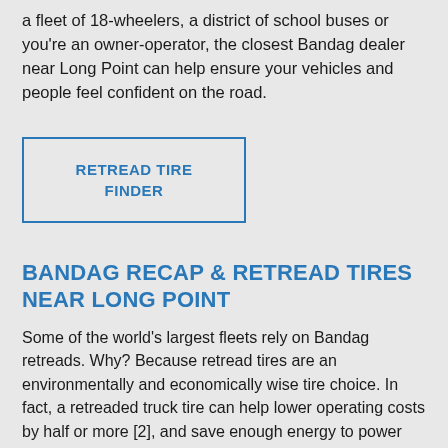a fleet of 18-wheelers, a district of school buses or you're an owner-operator, the closest Bandag dealer near Long Point can help ensure your vehicles and people feel confident on the road.
RETREAD TIRE FINDER
BANDAG RECAP & RETREAD TIRES NEAR LONG POINT
Some of the world's largest fleets rely on Bandag retreads. Why? Because retread tires are an environmentally and economically wise tire choice. In fact, a retreaded truck tire can help lower operating costs by half or more [2], and save enough energy to power hundreds of homes.
You may want to know what sets Bandag retread dealers apart from other tire retreaders in nearby Long Point. It has to do with years of engineering experience and an enduring promise of quality. Whatever your application, our tread designs can match it. They're tested in real-world situations. Because you don't work in a lab and you don't drive in a vacuum. You drive on the open